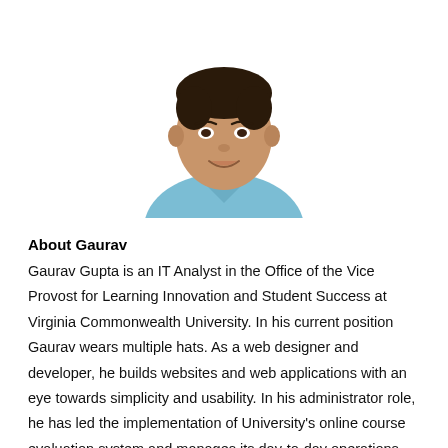[Figure (photo): Headshot portrait of Gaurav Gupta, a man in a light blue collared shirt, smiling, against a white background.]
About Gaurav
Gaurav Gupta is an IT Analyst in the Office of the Vice Provost for Learning Innovation and Student Success at Virginia Commonwealth University. In his current position Gaurav wears multiple hats. As a web designer and developer, he builds websites and web applications with an eye towards simplicity and usability. In his administrator role, he has led the implementation of University's online course evaluation system and manages its day-to-day operations. As a tech expert, he gets to play with the latest